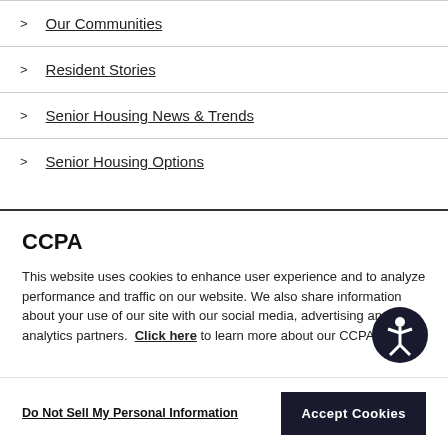Our Communities
Resident Stories
Senior Housing News & Trends
Senior Housing Options
CCPA
This website uses cookies to enhance user experience and to analyze performance and traffic on our website. We also share information about your use of our site with our social media, advertising and analytics partners. Click here to learn more about our CCPA policy.
Do Not Sell My Personal Information
Accept Cookies